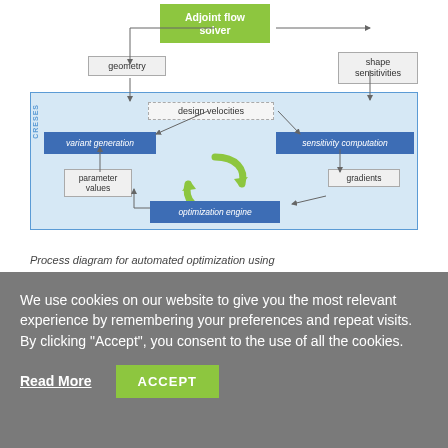[Figure (flowchart): Process diagram for automated optimization using adjoint flow solver. Shows flowchart with: Adjoint flow solver (green box at top), geometry box, shape sensitivities box, design velocities box (dashed), variant generation (blue), sensitivity computation (blue), parameter values, gradients, optimization engine (blue), and circular arrows cycle in the center. Connected by arrows indicating data flow.]
Process diagram for automated optimization using
We use cookies on our website to give you the most relevant experience by remembering your preferences and repeat visits. By clicking "Accept", you consent to the use of all the cookies.
Read More
ACCEPT